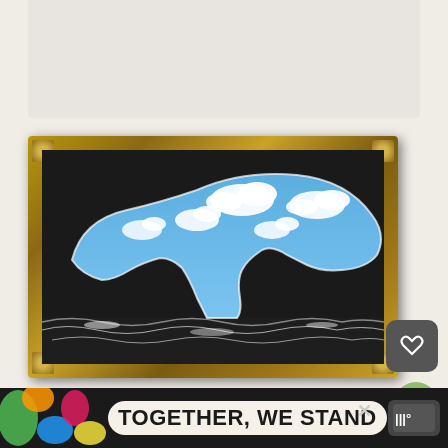[Figure (photo): A photograph of a Magritte-style surrealist painting in a gold ornate frame, mounted on a light beige gallery wall. The painting shows a large bird silhouette filled with a blue sky and white clouds against a dark black background with ocean waves at the bottom.]
[Figure (screenshot): An advertisement banner at the bottom reading 'TOGETHER, WE STAND' in bold black text on a cream/beige rounded rectangle background, with colorful blobs on the left side, a close X button, and a logo on the right. Dark background.]